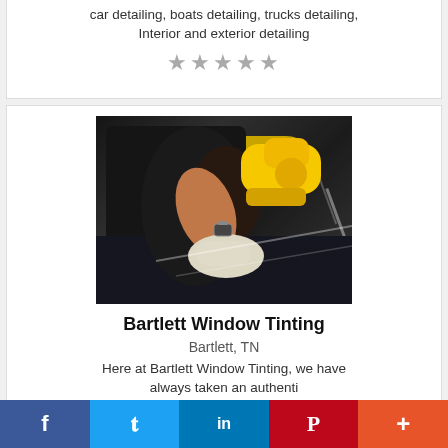car detailing, boats detailing, trucks detailing, Interior and exterior detailing
★★★★★
[Figure (photo): Person in black shirt using a yellow polishing tool on a dark-colored car hood, wearing work gloves]
Bartlett Window Tinting
Bartlett, TN
Here at Bartlett Window Tinting, we have always taken an authenti
★★★★★
f  🐦  in  P  +